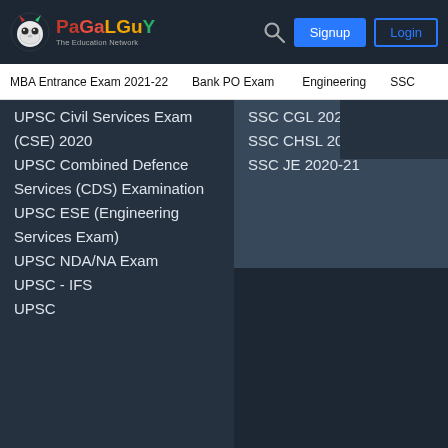[Figure (logo): PaGaLGuY - The Education Network logo with mascot icon]
MBA Entrance Exam 2021-22   Bank PO Exam   Engineering   SSC
UPSC Civil Services Exam (CSE) 2020
UPSC Combined Defence Services (CDS) Examination
UPSC ESE (Engineering Services Exam)
UPSC NDA/NA Exam
UPSC - IFS
UPSC
SSC CGL 2020-21
SSC CHSL 2020-21
SSC JE 2020-21
RRB ALP
RRB SSE
Colleges
Medical Colleges